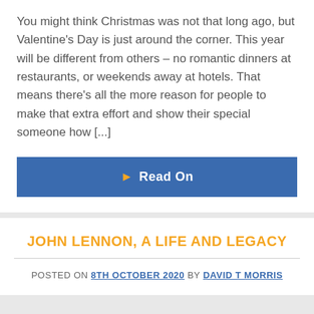You might think Christmas was not that long ago, but Valentine's Day is just around the corner. This year will be different from others – no romantic dinners at restaurants, or weekends away at hotels. That means there's all the more reason for people to make that extra effort and show their special someone how [...]
▶ Read On
JOHN LENNON, A LIFE AND LEGACY
POSTED ON 8TH OCTOBER 2020 BY DAVID T MORRIS